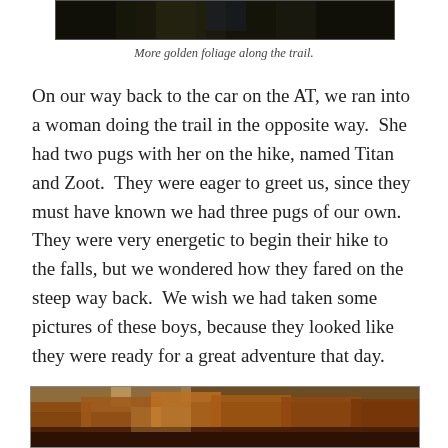[Figure (photo): Top portion of a nature/trail photo showing dark forest foliage]
More golden foliage along the trail.
On our way back to the car on the AT, we ran into a woman doing the trail in the opposite way.  She had two pugs with her on the hike, named Titan and Zoot.  They were eager to greet us, since they must have known we had three pugs of our own.  They were very energetic to begin their hike to the falls, but we wondered how they fared on the steep way back.  We wish we had taken some pictures of these boys, because they looked like they were ready for a great adventure that day.
[Figure (photo): Bottom portion of a trail photo showing autumn orange and brown foliage]